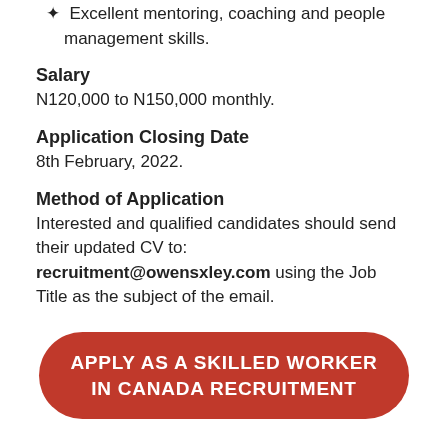Excellent mentoring, coaching and people management skills.
Salary
N120,000 to N150,000 monthly.
Application Closing Date
8th February, 2022.
Method of Application
Interested and qualified candidates should send their updated CV to: recruitment@owensxley.com using the Job Title as the subject of the email.
[Figure (other): Red rounded button with text: APPLY AS A SKILLED WORKER IN CANADA RECRUITMENT]